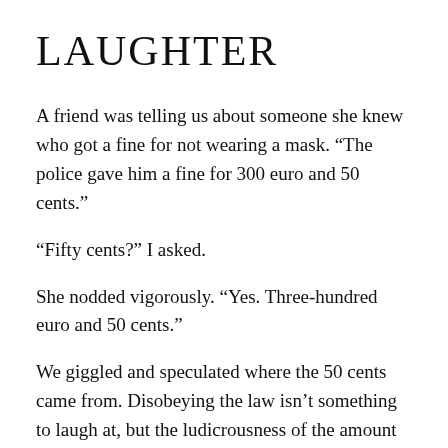LAUGHTER
A friend was telling us about someone she knew who got a fine for not wearing a mask. “The police gave him a fine for 300 euro and 50 cents.”
“Fifty cents?” I asked.
She nodded vigorously. “Yes. Three-hundred euro and 50 cents.”
We giggled and speculated where the 50 cents came from. Disobeying the law isn’t something to laugh at, but the ludicrousness of the amount caught me off guard. In Spain, indecent exposure has nothing to do with nudity on the beaches and everything to do with not putting a piece of cloth